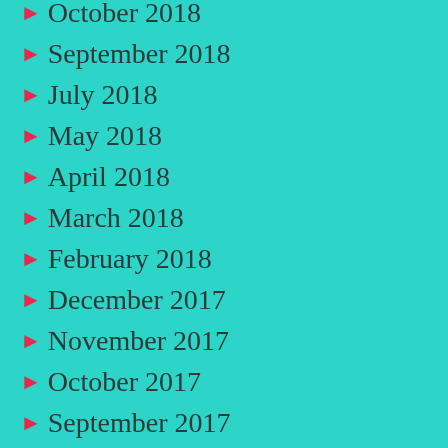October 2018
September 2018
July 2018
May 2018
April 2018
March 2018
February 2018
December 2017
November 2017
October 2017
September 2017
August 2017
July 2017
June 2017
May 2017
April 2017